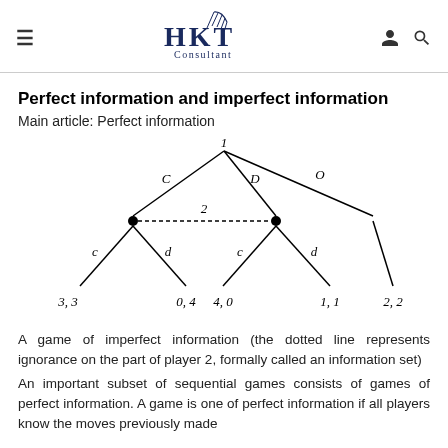HKT Consultant
Perfect information and imperfect information
Main article: Perfect information
[Figure (other): Game tree diagram showing a game of imperfect information. Root node 1 branches into C (left), D (center), O (right). The C branch leads to node 2 (left bullet) and D leads to node 2 (right bullet), connected by a dotted line indicating an information set for player 2. Left node 2 branches into c (3,3) and d (0,4). Right node 2 branches into c (4,0) and d (1,1). The O branch leads to terminal node (2,2).]
A game of imperfect information (the dotted line represents ignorance on the part of player 2, formally called an information set)
An important subset of sequential games consists of games of perfect information. A game is one of perfect information if all players know the moves previously made